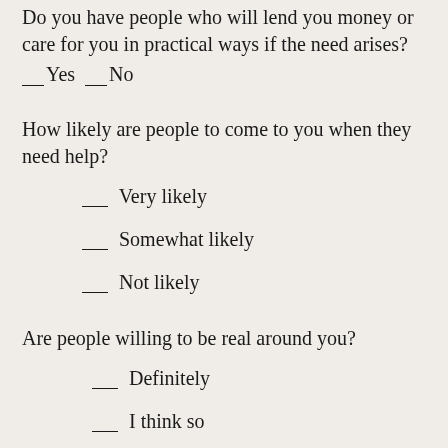Do you have people who will lend you money or care for you in practical ways if the need arises?   ___Yes  ___No
How likely are people to come to you when they need help?
___ Very likely
___ Somewhat likely
___ Not likely
Are people willing to be real around you?
___ Definitely
___ I think so
___ I wouldn't know?